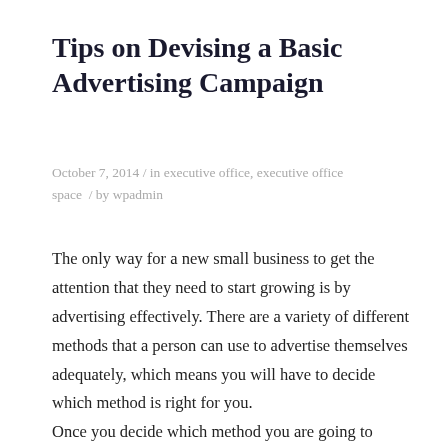Tips on Devising a Basic Advertising Campaign
October 7, 2014 / in executive office, executive office space / by wpadmin
The only way for a new small business to get the attention that they need to start growing is by advertising effectively. There are a variety of different methods that a person can use to advertise themselves adequately, which means you will have to decide which method is right for you.
Once you decide which method you are going to